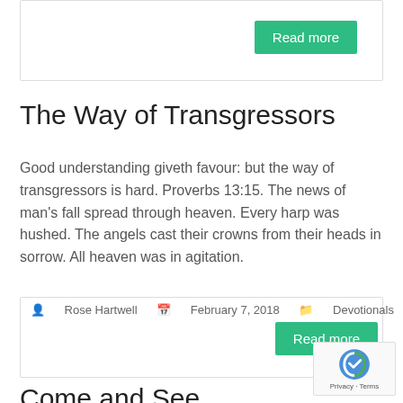The Way of Transgressors
Good understanding giveth favour: but the way of transgressors is hard. Proverbs 13:15. The news of man’s fall spread through heaven. Every harp was hushed. The angels cast their crowns from their heads in sorrow. All heaven was in agitation.
Rose Hartwell  February 7, 2018  Devotionals
Come and See